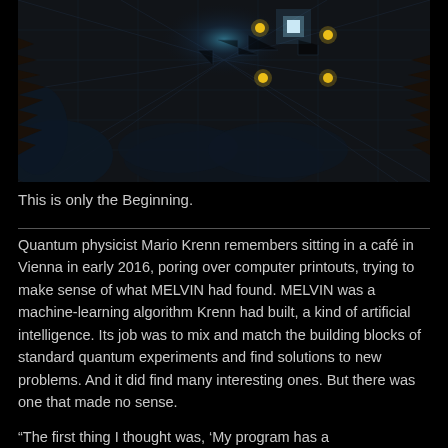[Figure (illustration): Dark fractal/circuit board abstract image with glowing yellow dots and a bright blue-white square light at center, surrounded by neural-like dark blue organic structures and sharp spike-like forms on the sides]
This is only the Beginning.
Quantum physicist Mario Krenn remembers sitting in a café in Vienna in early 2016, poring over computer printouts, trying to make sense of what MELVIN had found. MELVIN was a machine-learning algorithm Krenn had built, a kind of artificial intelligence. Its job was to mix and match the building blocks of standard quantum experiments and find solutions to new problems. And it did find many interesting ones. But there was one that made no sense.
“The first thing I thought was, ‘My program has a